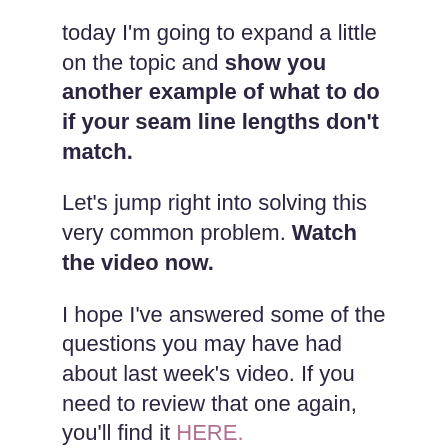today I'm going to expand a little on the topic and show you another example of what to do if your seam line lengths don't match.
Let's jump right into solving this very common problem. Watch the video now.
I hope I've answered some of the questions you may have had about last week's video. If you need to review that one again, you'll find it HERE.
As always, I'm happy to hear from you so leave your comments, questions and suggestions below.
All My Best,
Alexandra